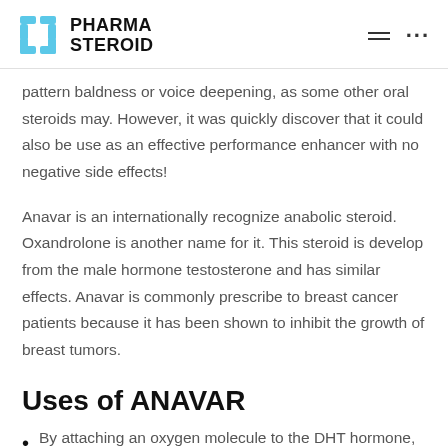PHARMA STEROID
pattern baldness or voice deepening, as some other oral steroids may. However, it was quickly discover that it could also be use as an effective performance enhancer with no negative side effects!
Anavar is an internationally recognize anabolic steroid. Oxandrolone is another name for it. This steroid is develop from the male hormone testosterone and has similar effects. Anavar is commonly prescribe to breast cancer patients because it has been shown to inhibit the growth of breast tumors.
Uses of ANAVAR
By attaching an oxygen molecule to the DHT hormone,